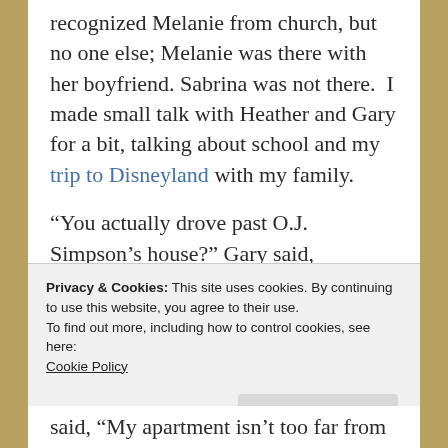recognized Melanie from church, but no one else; Melanie was there with her boyfriend. Sabrina was not there.  I made small talk with Heather and Gary for a bit, talking about school and my trip to Disneyland with my family.
“You actually drove past O.J. Simpson’s house?” Gary said, laughing.  “That’s hilarious!”
“I know.  Mom kept saying she couldn’t believe we were actually doing that.”
Privacy & Cookies: This site uses cookies. By continuing to use this website, you agree to their use.
To find out more, including how to control cookies, see here: Cookie Policy
said, “My apartment isn’t too far from O.J.